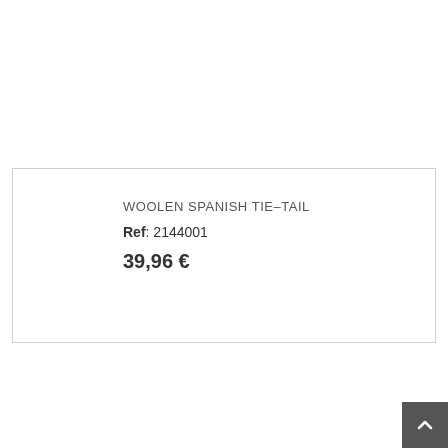WOOLEN SPANISH TIE-TAIL
Ref: 2144001
39,96 €